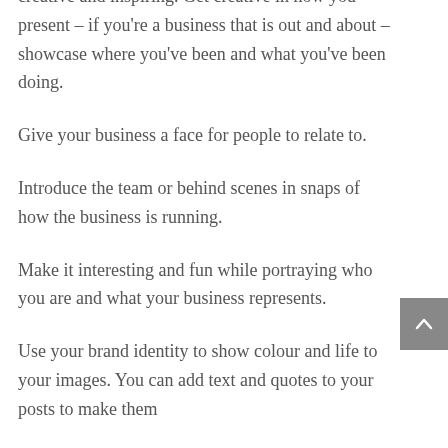creative and inspiring. Get creative in how you present – if you're a business that is out and about – showcase where you've been and what you've been doing.
Give your business a face for people to relate to.
Introduce the team or behind scenes in snaps of how the business is running.
Make it interesting and fun while portraying who you are and what your business represents.
Use your brand identity to show colour and life to your images. You can add text and quotes to your posts to make them